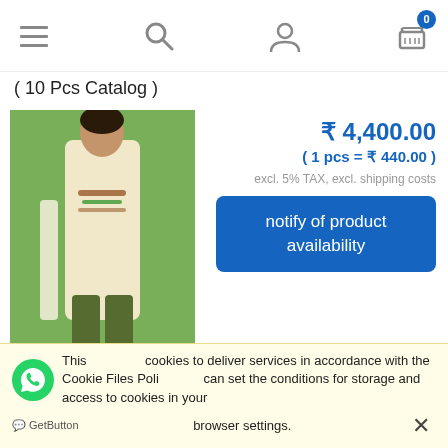Navigation bar with menu, search, user, and cart (0) icons
( 10 Pcs Catalog )
[Figure (photo): Product photo of a cream/beige Indian salwar kameez dress with olive green pants and dupatta, displayed on a model against a green background]
₹ 4,400.00
( 1 pcs = ₹ 440.00 )
excl. 5% TAX, excl. shipping costs
notify of product availability
Amirah Vol-30 Dress Material (6 Pcs Catalog )
[Figure (photo): Partial product photo of a teal/green Indian dress material, model partially visible]
₹ 11,370.00
( 1 pcs = ₹ 1,895.00 )
This site uses cookies to deliver services in accordance with the Cookie Files Policy. You can set the conditions for storage and access to cookies in your browser settings.
GetButton